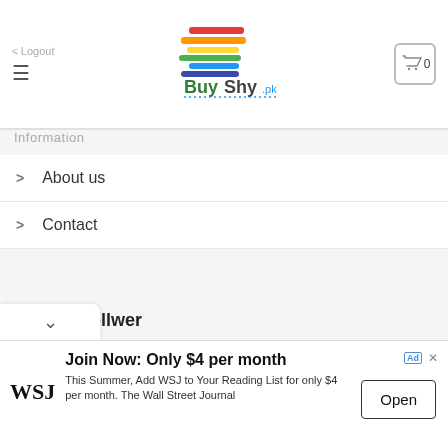[Figure (logo): BuyShy.pk colorful logo with shopping cart icon showing 0]
Information
About us
Contact
Be Our Follwer
[Figure (infographic): Social media icons: Facebook, Instagram, Twitter, Email, LinkedIn, YouTube in grey circles]
[Figure (screenshot): Advertisement banner: WSJ - Join Now: Only $4 per month. This Summer, Add WSJ to Your Reading List for only $4 per month. The Wall Street Journal. Open button.]